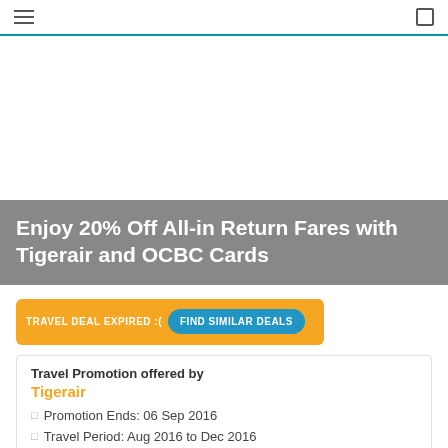≡  □
[Figure (other): White advertisement/image area (blank/placeholder)]
Enjoy 20% Off All-in Return Fares with Tigerair and OCBC Cards
TRAVEL DEAL EXPIRED :( FIND SIMILAR DEALS
Travel Promotion offered by Tigerair
Promotion Ends: 06 Sep 2016
Travel Period: Aug 2016 to Dec 2016